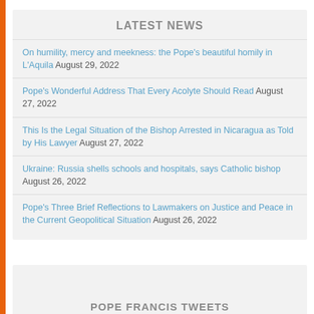LATEST NEWS
On humility, mercy and meekness: the Pope's beautiful homily in L'Aquila August 29, 2022
Pope's Wonderful Address That Every Acolyte Should Read August 27, 2022
This Is the Legal Situation of the Bishop Arrested in Nicaragua as Told by His Lawyer August 27, 2022
Ukraine: Russia shells schools and hospitals, says Catholic bishop August 26, 2022
Pope's Three Brief Reflections to Lawmakers on Justice and Peace in the Current Geopolitical Situation August 26, 2022
POPE FRANCIS TWEETS